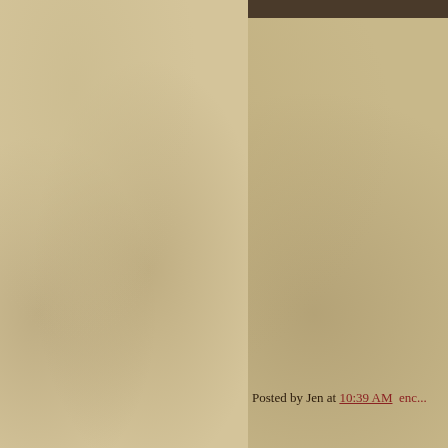I am flat out jaded right now.
I can't help but feel the followi...
2. 5 is way too young for such...
13 is a little better, but still fair...
And almost 8 (November 16, 2...
I have had enough, thank you!!
Couldn't you please have left K...
Posted by Jen at 10:39 AM  enc...